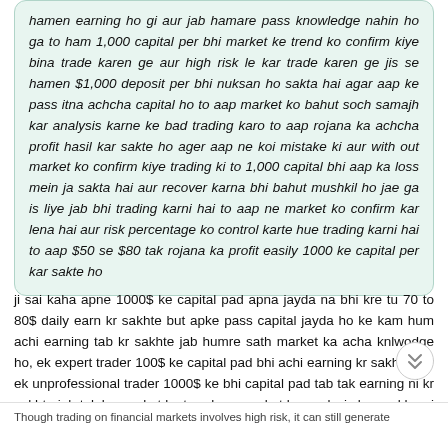hamen earning ho gi aur jab hamare pass knowledge nahin ho ga to ham 1,000 capital per bhi market ke trend ko confirm kiye bina trade karen ge aur high risk le kar trade karen ge jis se hamen $1,000 deposit per bhi nuksan ho sakta hai agar aap ke pass itna achcha capital ho to aap market ko bahut soch samajh kar analysis karne ke bad trading karo to aap rojana ka achcha profit hasil kar sakte ho ager aap ne koi mistake ki aur with out market ko confirm kiye trading ki to 1,000 capital bhi aap ka loss mein ja sakta hai aur recover karna bhi bahut mushkil ho jae ga is liye jab bhi trading karni hai to aap ne market ko confirm kar lena hai aur risk percentage ko control karte hue trading karni hai to aap $50 se $80 tak rojana ka profit easily 1000 ke capital per kar sakte ho
ji sai kaha apne 1000$ ke capital pad apna jayda na bhi kre tu 70 to 80$ daily earn kr sakhte but apke pass capital jayda ho ke kam hum achi earning tab kr sakhte jab humre sath market ka acha knlwodge ho, ek expert trader 100$ ke capital pad bhi achi earning kr sakhta aur ek unprofessional trader 1000$ ke bhi capital pad tab tak earning ni kr sakhta jab tak ko market ke trend aur market ke analysis ko seekh nai jata, hume apne 1000$ ke capital ko waste nahi krna chahie ek achi learning ke bad demo account pad puri practice ke bad hi trade open krna chahie ke hum loss se bhi bach sakhe aur profit bhi earn kr sakhe.
Though trading on financial markets involves high risk, it can still generate...